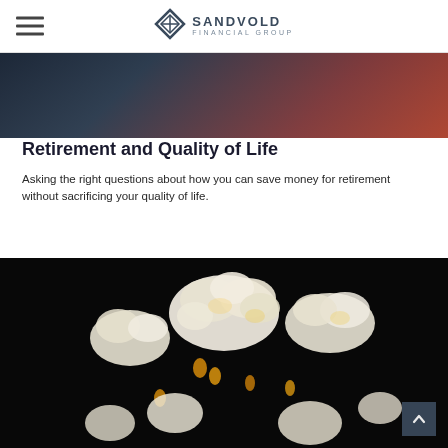Sandvold Financial Group
[Figure (photo): Close-up photo of two elderly people holding hands, one wearing a dark jacket and the other a red jacket, cropped at the top of the page.]
Retirement and Quality of Life
Asking the right questions about how you can save money for retirement without sacrificing your quality of life.
[Figure (photo): Close-up photo of popcorn kernels popping against a dark black background, showing white fluffy popped corn and golden unpopped kernels mid-air.]